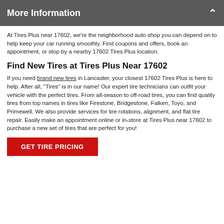More Information
At Tires Plus near 17602, we're the neighborhood auto shop you can depend on to help keep your car running smoothly. Find coupons and offers, book an appointment, or stop by a nearby 17602 Tires Plus location.
Find New Tires at Tires Plus Near 17602
If you need brand new tires in Lancaster, your closest 17602 Tires Plus is here to help. After all, "Tires" is in our name! Our expert tire technicians can outfit your vehicle with the perfect tires. From all-season to off-road tires, you can find quality tires from top names in tires like Firestone, Bridgestone, Falken, Toyo, and Primewell. We also provide services for tire rotations, alignment, and flat tire repair. Easily make an appointment online or in-store at Tires Plus near 17602 to purchase a new set of tires that are perfect for you!
GET TIRE PRICING